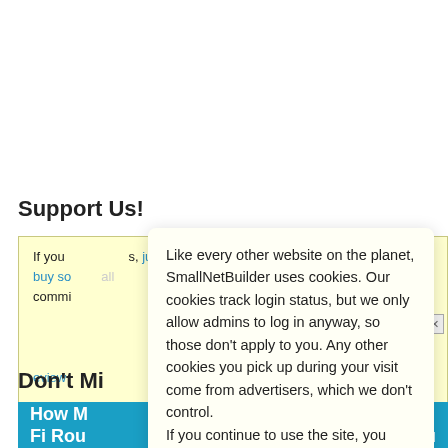Support Us!
If you buy something from an affiliate link, we get a small commission. If you would like to support our reviews, just buy something from an affiliate link. It won't cost you anything extra and all commissi...
Don't Mi...
[Figure (screenshot): Blue banner with white text reading 'How M... ur Wi-Fi Rou...']
Like every other website on the planet, SmallNetBuilder uses cookies. Our cookies track login status, but we only allow admins to log in anyway, so those don't apply to you. Any other cookies you pick up during your visit come from advertisers, which we don't control.
If you continue to use the site, you agree to tolerate our use of cookies. Thank you!